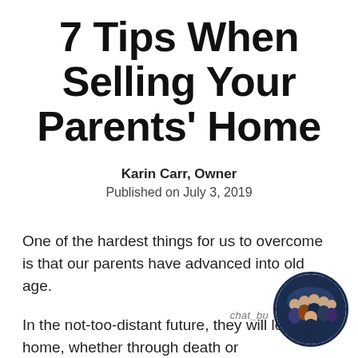7 Tips When Selling Your Parents' Home
Karin Carr, Owner
Published on July 3, 2019
One of the hardest things for us to overcome is that our parents have advanced into old age.
In the not-too-distant future, they will leave home, whether through death or
[Figure (photo): Circular profile photo of a group of people, with 'chat_bu' watermark text overlay]